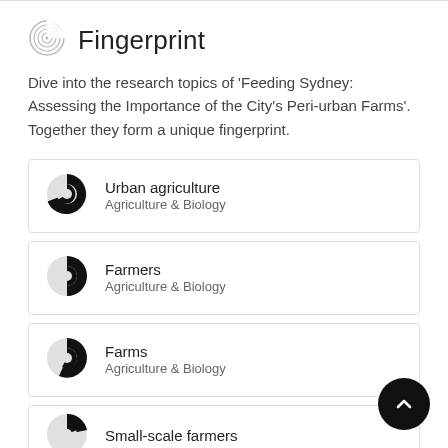Fingerprint
Dive into the research topics of 'Feeding Sydney: Assessing the Importance of the City's Peri-urban Farms'. Together they form a unique fingerprint.
Urban agriculture
Agriculture & Biology
Farmers
Agriculture & Biology
Farms
Agriculture & Biology
Small-scale farmers